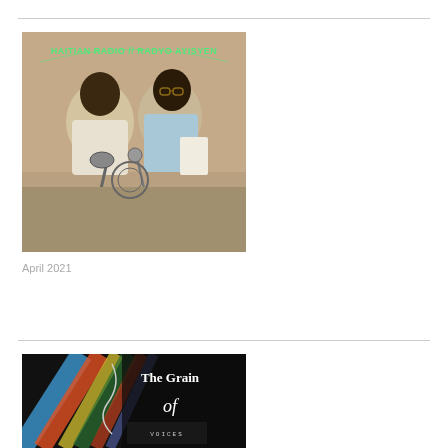[Figure (photo): Album or radio broadcast cover image showing two men at a microphone, with text overlay reading 'HAITIAN RADIO // RADYO AYISYEN']
April 2021
[Figure (photo): Dark artistic image with text 'The Grain of' and background showing diagonal colourful lines and text, appearing to be a book or album cover]